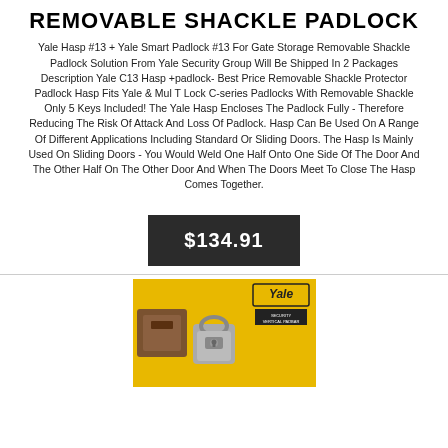REMOVABLE SHACKLE PADLOCK
Yale Hasp #13 + Yale Smart Padlock #13 For Gate Storage Removable Shackle Padlock Solution From Yale Security Group Will Be Shipped In 2 Packages Description Yale C13 Hasp +padlock- Best Price Removable Shackle Protector Padlock Hasp Fits Yale & Mul T Lock C-series Padlocks With Removable Shackle Only 5 Keys Included! The Yale Hasp Encloses The Padlock Fully - Therefore Reducing The Risk Of Attack And Loss Of Padlock. Hasp Can Be Used On A Range Of Different Applications Including Standard Or Sliding Doors. The Hasp Is Mainly Used On Sliding Doors - You Would Weld One Half Onto One Side Of The Door And The Other Half On The Other Door And When The Doors Meet To Close The Hasp Comes Together.
$134.91
[Figure (photo): Yale branded product packaging in yellow showing security padlock and hasp hardware on yellow background with Yale logo badge and 'Security Vertical Padbar' label]